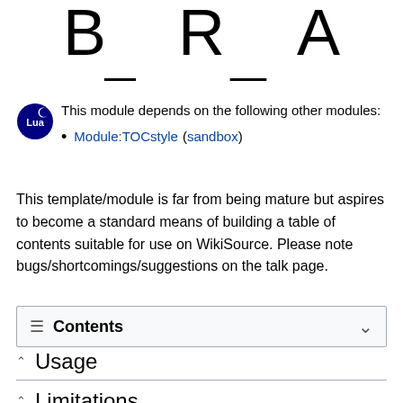[Figure (other): Partial large letters visible at top: D, R, A on first row; F, T on second row — decorative/title display letters cropped at top of page.]
This module depends on the following other modules:
• Module:TOCstyle (sandbox)
This template/module is far from being mature but aspires to become a standard means of building a table of contents suitable for use on WikiSource. Please note bugs/shortcomings/suggestions on the talk page.
Contents
Usage
Limitations